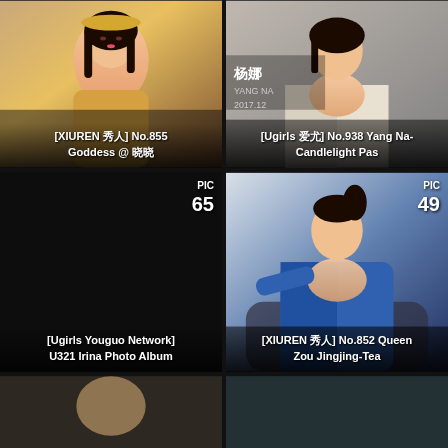[Figure (photo): Top-left: Woman in yellow outfit outdoors, caption: [XIUREN 秀人] No.855 Goddess @ 晓晓]
[Figure (photo): Top-right: Woman in white blazer, caption: [Ugirls 爱尤] No.938 Yang Na- Candlelight Pas]
[Figure (photo): Mid-left: Dark panel with PIC 65 badge, caption: [Ugirls Youguo Network] U321 Irina Photo Album]
[Figure (photo): Mid-right: Woman in blue jacket seated, PIC 49 badge, caption: [XIUREN 秀人] No.852 Queen Zou Jingjing-Tea]
[Figure (photo): Bottom-left: Partially visible photo]
[Figure (photo): Bottom-right: Partially visible outdoor photo]